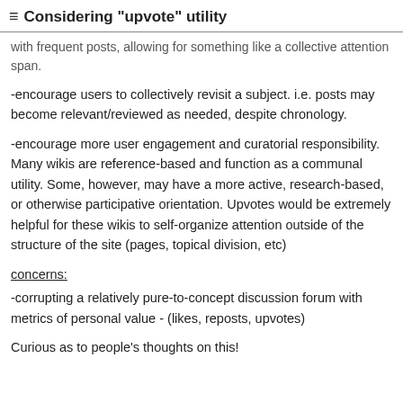Considering "upvote" utility
with frequent posts, allowing for something like a collective attention span.
-encourage users to collectively revisit a subject. i.e. posts may become relevant/reviewed as needed, despite chronology.
-encourage more user engagement and curatorial responsibility. Many wikis are reference-based and function as a communal utility. Some, however, may have a more active, research-based, or otherwise participative orientation. Upvotes would be extremely helpful for these wikis to self-organize attention outside of the structure of the site (pages, topical division, etc)
concerns:
-corrupting a relatively pure-to-concept discussion forum with metrics of personal value - (likes, reposts, upvotes)
Curious as to people's thoughts on this!